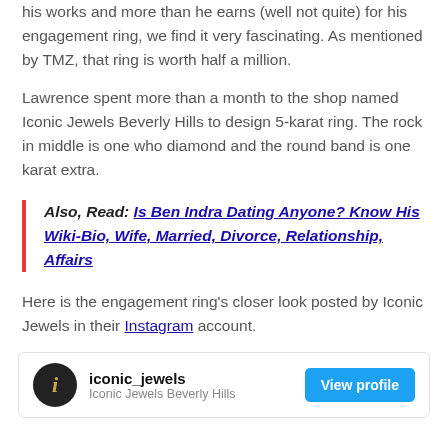his works and more than he earns (well not quite) for his engagement ring, we find it very fascinating. As mentioned by TMZ, that ring is worth half a million.
Lawrence spent more than a month to the shop named Iconic Jewels Beverly Hills to design 5-karat ring. The rock in middle is one who diamond and the round band is one karat extra.
Also, Read: Is Ben Indra Dating Anyone? Know His Wiki-Bio, Wife, Married, Divorce, Relationship, Affairs
Here is the engagement ring's closer look posted by Iconic Jewels in their Instagram account.
iconic_jewels
Iconic Jewels Beverly Hills
View profile